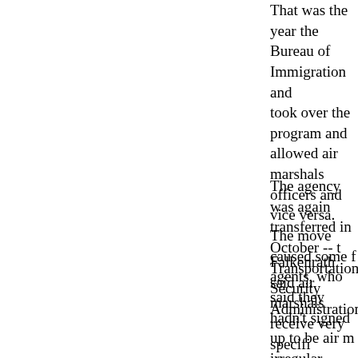That was the year the Bureau of Immigration and Customs Enforcement took over the program and allowed air marshals to work as Customs officers and vice versa. The move caused some friction among Customs agents, who said they hadn't signed up to be air marshals, who work irregular schedules and complain of monotony.
The agency was again transferred in October -- this time to the Transportation Security Administration.
Falkenrath said air marshals receive very specific training. The TSA Web site says it includes "behavioral observation, firearms training, close quarters self-defense" -- and are able to shoot accurately while airplane is in flight.
Agents are assigned to some international flights based on a threat assessment and marshals work in teams, he said.
Story Tools
Click Here Free Trial I Time!
Top Stories Home Page
Top Stories Home Page
Get up-to-the minute news from CNN
Get up-to-th CNN